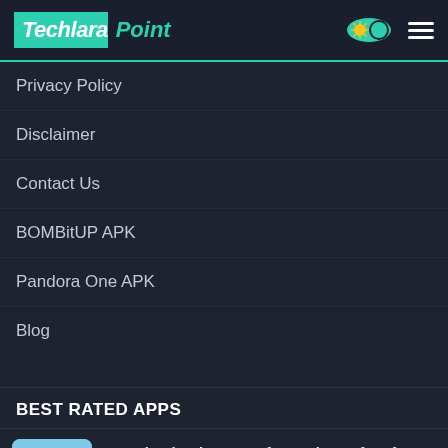Techlara Point
Privacy Policy
Disclaimer
Contact Us
BOMBitUP APK
Pandora One APK
Blog
BEST RATED APPS
Download Subway Surfer Mod APK free for Android Latest